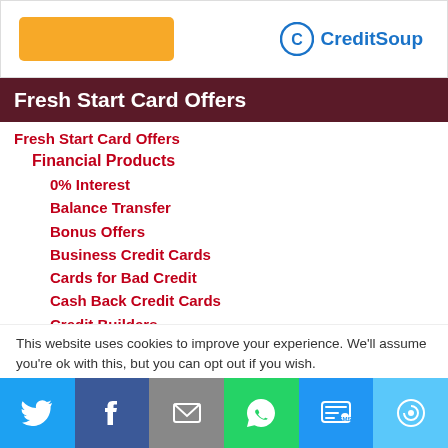[Figure (logo): CreditSoup logo with orange button banner at top]
Fresh Start Card Offers
Fresh Start Card Offers
Financial Products
0% Interest
Balance Transfer
Bonus Offers
Business Credit Cards
Cards for Bad Credit
Cash Back Credit Cards
Credit Builders
Credit Monitoring
EMV Credit Cards
Gas Credit Cards
This website uses cookies to improve your experience. We'll assume you're ok with this, but you can opt out if you wish.